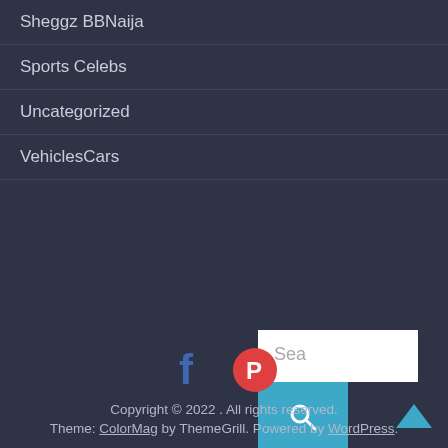Sheggz BBNaija
Sports Celebs
Uncategorized
VehiclesCars
[Figure (screenshot): Search input box with placeholder text 'Sea' and a blue search button with magnifying glass icon]
[Figure (illustration): Social media icons: Facebook (blue f) and Pinterest (red circle with P)]
Copyright © 2022 . All rights reserved. Theme: ColorMag by ThemeGrill. Powered by WordPress.